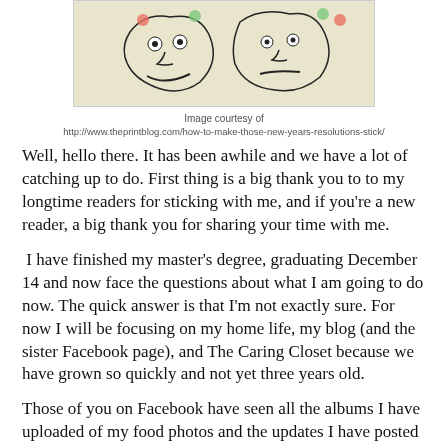[Figure (illustration): Cartoon illustration of two stylized faces with decorative dots, drawn in black and white on a cream/light yellow background]
Image courtesy of
http://www.theprintblog.com/how-to-make-those-new-years-resolutions-stick/
Well, hello there.  It has been awhile and we have a lot of catching up to do.  First thing is a big thank you to to my longtime readers for sticking with me, and if you're a new reader, a big thank you for sharing your time with me.
I have finished my master's degree, graduating December 14 and now face the questions about what I am going to do now.  The quick answer is that I'm not exactly sure.  For now I will be focusing on my home life, my blog (and the sister Facebook page), and The Caring Closet because we have grown so quickly and not yet three years old.
Those of you on Facebook have seen all the albums I have uploaded of my food photos and the updates I have posted there.  I have been mulling a name and layout change for the blog, but have decided to keep it as is for now, just changing